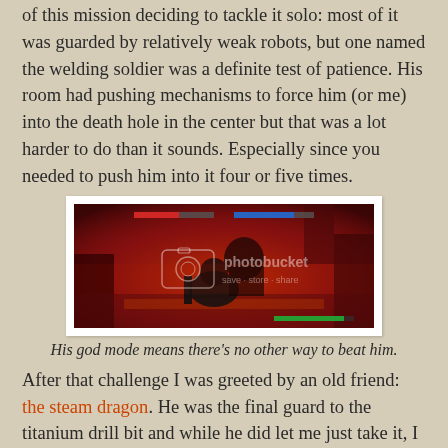of this mission deciding to tackle it solo: most of it was guarded by relatively weak robots, but one named the welding soldier was a definite test of patience. His room had pushing mechanisms to force him (or me) into the death hole in the center but that was a lot harder to do than it sounds. Especially since you needed to push him into it four or five times.
[Figure (screenshot): Video game screenshot showing a dark combat scene with a player character and enemy in a red/fiery environment, with a Photobucket watermark overlay.]
His god mode means there's no other way to beat him.
After that challenge I was greeted by an old friend: the steam dragon. He was the final guard to the titanium drill bit and while he did let me just take it, I couldn't leave the room without slaying him. He too had upgraded to god mode armor, but showering him in lava was enough to render him